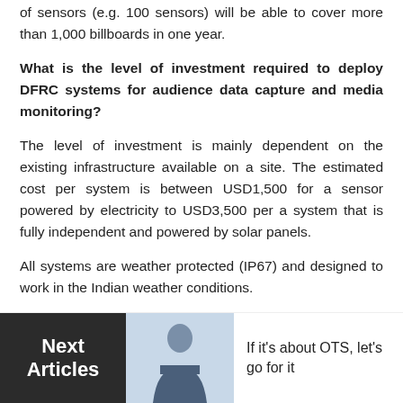of sensors (e.g. 100 sensors) will be able to cover more than 1,000 billboards in one year.
What is the level of investment required to deploy DFRC systems for audience data capture and media monitoring?
The level of investment is mainly dependent on the existing infrastructure available on a site. The estimated cost per system is between USD1,500 for a sensor powered by electricity to USD3,500 per a system that is fully independent and powered by solar panels.
All systems are weather protected (IP67) and designed to work in the Indian weather conditions.
The DFRC IoT Wi-Fi sensor could be housed in a waterproof box and easy to install and relocate. A power
[Figure (other): Bottom bar with 'Next Articles' dark box, a photo of a person, and article title 'If it's about OTS, let's go for it']